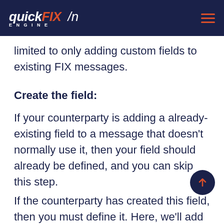quickFIX ENGINE /n
limited to only adding custom fields to existing FIX messages.
Create the field:
If your counterparty is adding a already-existing field to a message that doesn't normally use it, then your field should already be defined, and you can skip this step.
If the counterparty has created this field, then you must define it. Here, we'll add a